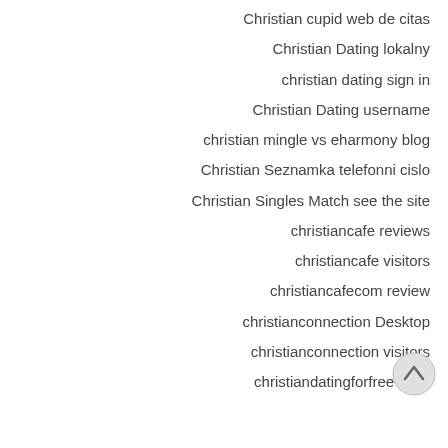Christian cupid web de citas
Christian Dating lokalny
christian dating sign in
Christian Dating username
christian mingle vs eharmony blog
Christian Seznamka telefonni cislo
Christian Singles Match see the site
christiancafe reviews
christiancafe visitors
christiancafecom review
christianconnection Desktop
christianconnection visitors
christiandatingforfree login